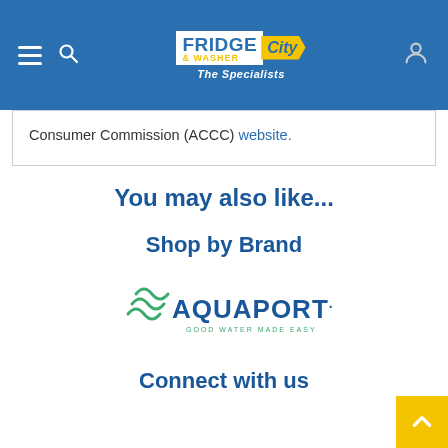Fridge & Washer City — The Specialists
Consumer Commission (ACCC) website.
You may also like...
Shop by Brand
[Figure (logo): Aquaport logo — GOOD WATER MADE EASY]
Connect with us